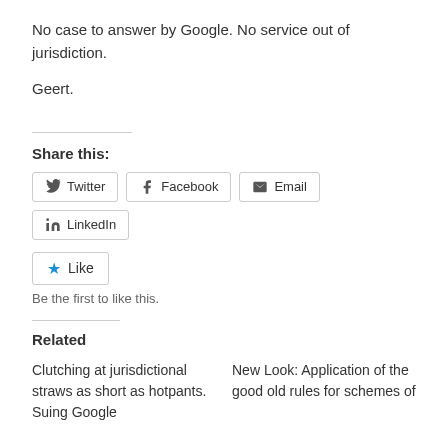No case to answer by Google. No service out of jurisdiction.
Geert.
Share this:
Twitter | Facebook | Email | LinkedIn
Like
Be the first to like this.
Related
Clutching at jurisdictional straws as short as hotpants. Suing Google
New Look: Application of the good old rules for schemes of